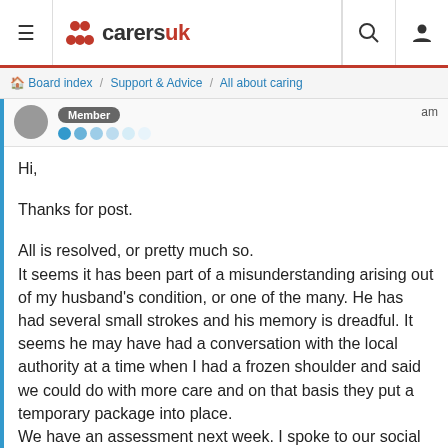carersuk — Board index / Support & Advice / All about caring
Member (badge), dots row, am
Hi,

Thanks for post.

All is resolved, or pretty much so.
It seems it has been part of a misunderstanding arising out of my husband's condition, or one of the many. He has had several small strokes and his memory is dreadful. It seems he may have had a conversation with the local authority at a time when I had a frozen shoulder and said we could do with more care and on that basis they put a temporary package into place.
We have an assessment next week. I spoke to our social worker's supervisor yesterday and there shouldn't be a